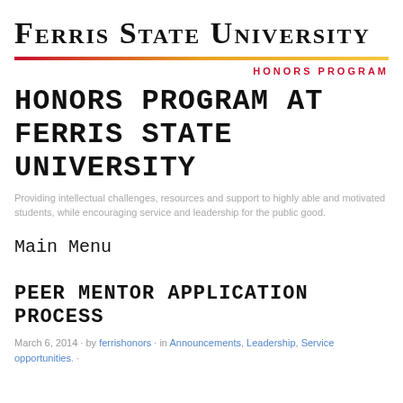FERRIS STATE UNIVERSITY
HONORS PROGRAM
HONORS PROGRAM AT FERRIS STATE UNIVERSITY
Providing intellectual challenges, resources and support to highly able and motivated students, while encouraging service and leadership for the public good.
Main Menu
PEER MENTOR APPLICATION PROCESS
March 6, 2014 · by ferrishonors · in Announcements, Leadership, Service opportunities. ·